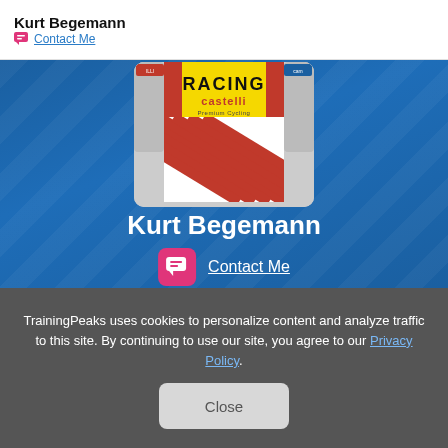Kurt Begemann
Contact Me
[Figure (photo): Racing Castelli cycling jersey with red and white diagonal stripes and yellow top]
Kurt Begemann
Contact Me
TrainingPeaks uses cookies to personalize content and analyze traffic to this site. By continuing to use our site, you agree to our Privacy Policy.
Close